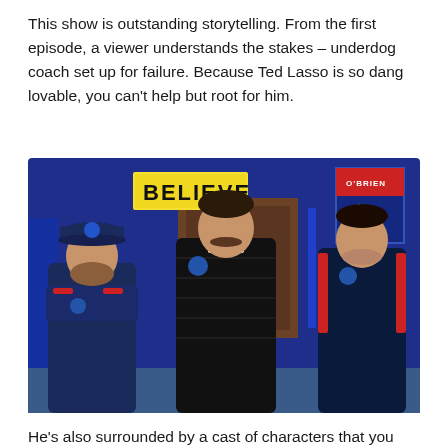This show is outstanding storytelling. From the first episode, a viewer understands the stakes – underdog coach set up for failure. Because Ted Lasso is so dang lovable, you can't help but root for him.
[Figure (photo): Three men standing in what appears to be a locker room. A yellow BELIEVE sign is visible in the background. The man on the left wears a navy blue zip-up jacket and baseball cap with arms crossed. The man in the center wears a black puffer jacket and has a mustache. The man on the right wears a dark athletic shirt with red accents. A locker with O'BRIEN and number 1 is visible in the background.]
He's also surrounded by a cast of characters that you either